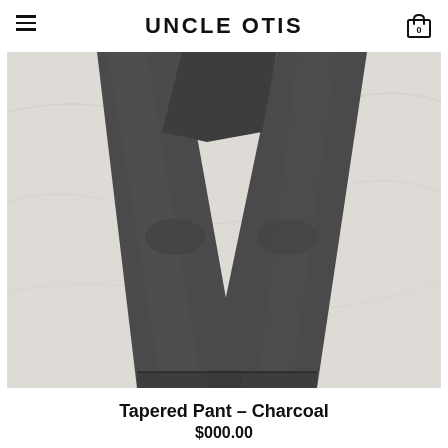UNCLE OTIS
[Figure (photo): Charcoal tapered pants laid flat on a white marble surface, showing the lower legs crossed in an X shape, with visible hemline cuffs.]
Tapered Pant – Charcoal
$000.00